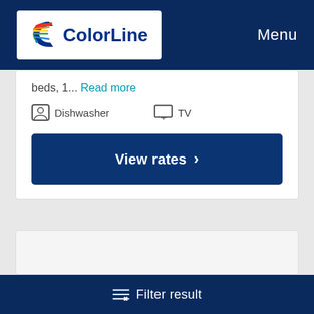Color Line — Menu
beds, 1... Read more
Dishwasher   TV
View rates >
[Figure (other): Empty card/content area placeholder]
Filter result